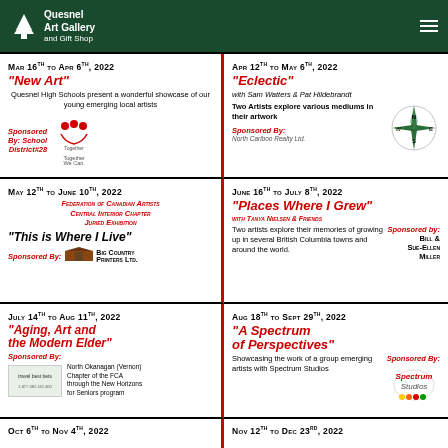Quesnel Art Gallery and Gift Shop
Mar 16th to Apr 6th, 2022
"New Art"
Quesnel High Schools present a wonderful showcase of our young emerging local artists
Sponsored By: School District#28
Apr 12th to May 6th, 2022
"Eclectic"
with Sam Watters & Pat Hildebrandt
Two Artists explore various mediums in their artwork
Sponsored By: North Cariboo Realty Ltd.
May 12th to June 10th, 2022
Federation of Canadian Artists Central Interior Chapter Juried Exhibition
"This is Where I Live"
Sponsored By: Big Country Printers Ltd.
June 16th to July 8th, 2022
"Places Where I Grew"
with Tanya Nielsen & Friends
Two artists explore their memories of growing up in several British Columbia towns and around the world.
Sponsored by: Bill & Sue-Ellen Miller
July 14th to Aug 11th, 2022
"Aging, Art and the Modern Elder"
Sponsored By: North Okanagan (Vernon) Chapter of the FCA through the New Horizons for Seniors program
Aug 18th to Sept 29th, 2022
"A Spectrum of Perspectives"
Showcasing the work of a group emerging artists with Spectrum Studios
Sponsored By: Spectrum Studios
Oct 6th to Nov 4th, 2022
Nov 12th to Dec 23rd, 2022